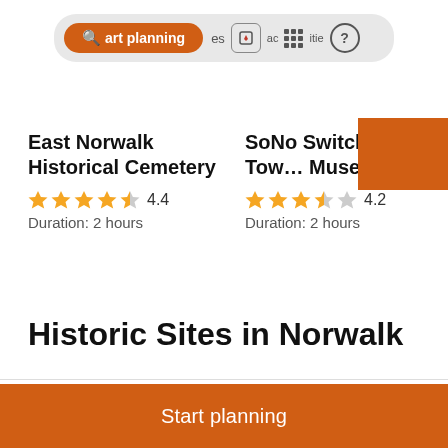[Figure (screenshot): Navigation bar with orange 'Start planning' search button, heart bookmark icon, grid icon, and question mark circle icon]
East Norwalk Historical Cemetery
4.4
Duration: 2 hours
SoNo Switch Tower Museum
4.2
Duration: 2 hours
Historic Sites in Norwalk
Lockwood-Mathews Mansion Museum
Start planning